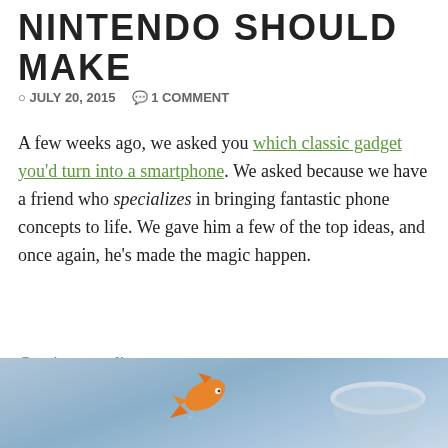NINTENDO SHOULD MAKE
JULY 20, 2015  1 COMMENT
A few weeks ago, we asked you which classic gadget you'd turn into a smartphone. We asked because we have a friend who specializes in bringing fantastic phone concepts to life. We gave him a few of the top ideas, and once again, he's made the magic happen.
Continue reading →
GAMEBOY
PHONE CONCEPTS
SMARTBOY
SMARTPHONES
[Figure (photo): A goldfish leaping out of a glass fishbowl against a blue-grey gradient background]